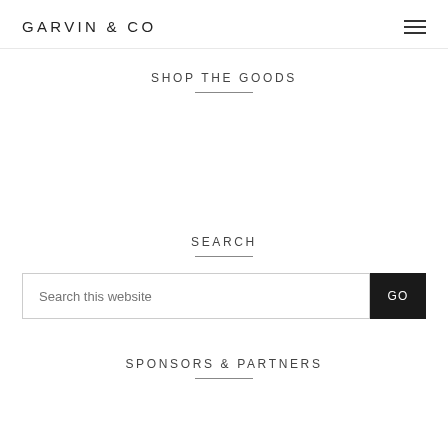GARVIN & CO
SHOP THE GOODS
SEARCH
Search this website
SPONSORS & PARTNERS